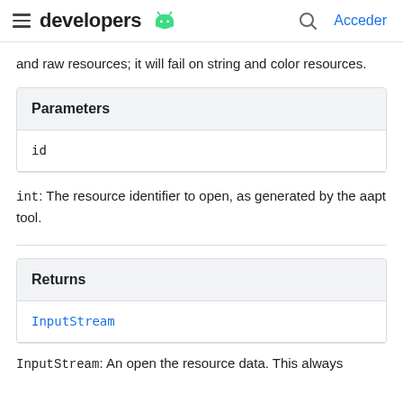developers [android logo] | [search] Acceder
and raw resources; it will fail on string and color resources.
| Parameters |
| --- |
| id |
int: The resource identifier to open, as generated by the aapt tool.
| Returns |
| --- |
| InputStream |
InputStream: An open the resource data. This always...